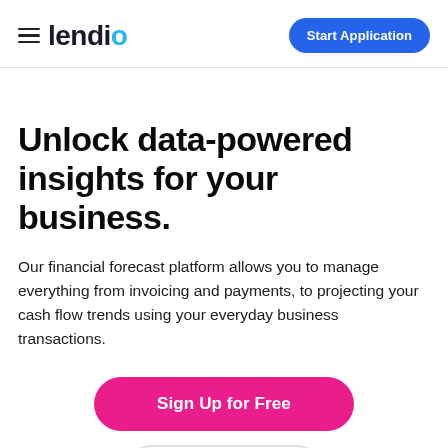≡ lendio  Start Application
Unlock data-powered insights for your business.
Our financial forecast platform allows you to manage everything from invoicing and payments, to projecting your cash flow trends using your everyday business transactions.
Sign Up for Free